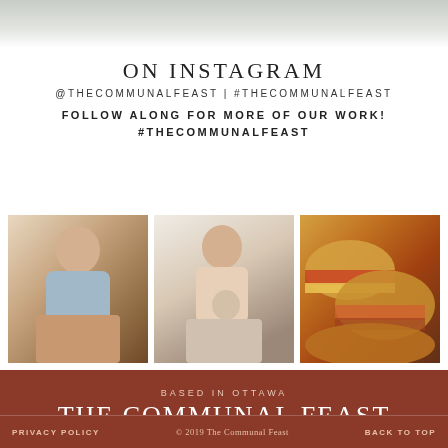[Figure (photo): Top decorative photo strip showing light gray surface, partial background]
ON INSTAGRAM
@THECOMMUNALFEAST | #THECOMMUNALFEAST
FOLLOW ALONG FOR MORE OF OUR WORK! #THECOMMUNALFEAST
[Figure (photo): Three Instagram photos side by side: woman holding baking tray, woman with baby, sandwiches close-up]
BASED IN OTTAWA
THE COMMUNAL FEAST
PRIVACY POLICY   © 2019  The Communal Feast   BACK TO TOP